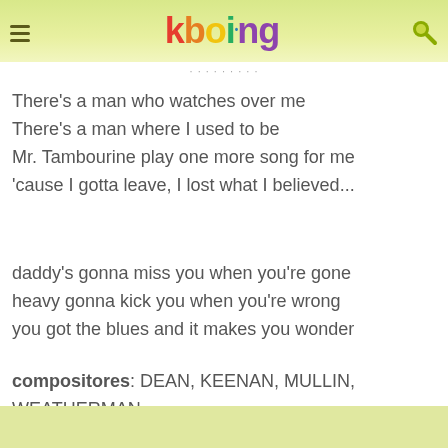kboing
There's a man who watches over me
There's a man where I used to be
Mr. Tambourine play one more song for me
'cause I gotta leave, I lost what I believed...
daddy's gonna miss you when you're gone
heavy gonna kick you when you're wrong
you got the blues and it makes you wonder
compositores: DEAN, KEENAN, MULLIN, WEATHERMAN